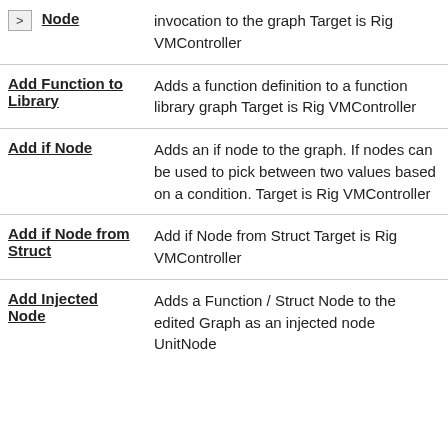| Name | Description |
| --- | --- |
| Node | invocation to the graph Target is Rig VMController |
| Add Function to Library | Adds a function definition to a function library graph Target is Rig VMController |
| Add if Node | Adds an if node to the graph. If nodes can be used to pick between two values based on a condition. Target is Rig VMController |
| Add if Node from Struct | Add if Node from Struct Target is Rig VMController |
| Add Injected Node | Adds a Function / Struct Node to the edited Graph as an injected node UnitNode |